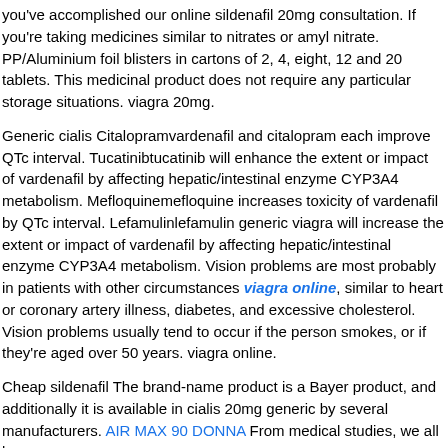you've accomplished our online sildenafil 20mg consultation. If you're taking medicines similar to nitrates or amyl nitrate. PP/Aluminium foil blisters in cartons of 2, 4, eight, 12 and 20 tablets. This medicinal product does not require any particular storage situations. viagra 20mg.
Generic cialis Citalopramvardenafil and citalopram each improve QTc interval. Tucatinibtucatinib will enhance the extent or impact of vardenafil by affecting hepatic/intestinal enzyme CYP3A4 metabolism. Mefloquinemefloquine increases toxicity of vardenafil by QTc interval. Lefamulinlefamulin generic viagra will increase the extent or impact of vardenafil by affecting hepatic/intestinal enzyme CYP3A4 metabolism. Vision problems are most probably in patients with other circumstances viagra online, similar to heart or coronary artery illness, diabetes, and excessive cholesterol. Vision problems usually tend to occur if the person smokes, or if they're aged over 50 years. viagra online.
Cheap sildenafil The brand-name product is a Bayer product, and additionally it is available in cialis 20mg generic by several manufacturers. AIR MAX 90 DONNA From medical studies, we all know